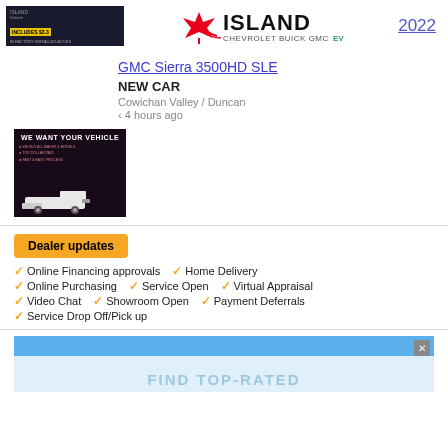ISLAND CHEVROLET BUICK GMC EV  2022
GMC Sierra 3500HD SLE
NEW CAR
Cowichan Valley / Duncan
‹ 4 hours ago
[Figure (photo): Dark advertisement image reading WE WANT YOUR VEHICLE with bullet points and a white truck silhouette at the bottom]
Dealer updates
Online Financing approvals
Home Delivery
Online Purchasing
Service Open
Virtual Appraisal
Video Chat
Showroom Open
Payment Deferrals
Service Drop Off/Pick up
[Figure (screenshot): Blue advertisement banner with X close button and text FIND TOP-RATED]